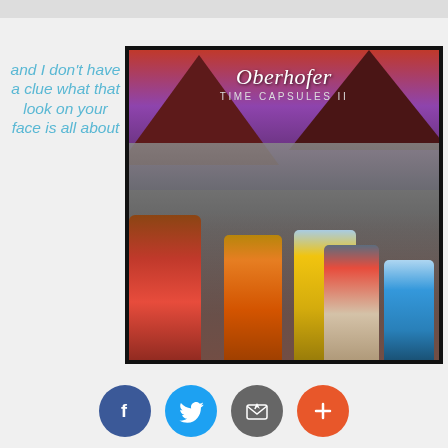[Figure (photo): Top strip image partial - appears to be a cropped photo at the top of the page]
and I don't have a clue what that look on your face is all about
[Figure (photo): Album cover for Oberhofer - Time Capsules II. Shows a collage of black and white crowd photos with colorful figures of women in the foreground facing away from viewer, set against dramatic red/purple mountain and sky backdrop. Artist name 'Oberhofer' in italic serif font with 'Time Capsules II' subtitle in small caps below.]
[Figure (infographic): Social sharing buttons row: Facebook (blue circle with f), Twitter (blue circle with bird), Email/envelope (gray circle), Plus/add (orange-red circle with +)]